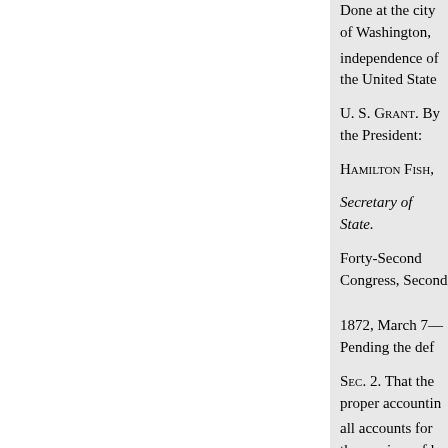Done at the city of Washington, [continued] independence of the United State[s]
U. S. Grant. By the President:
Hamilton Fish,
Secretary of State.
Forty-Second Congress, Second [Session]
1872, March 7—Pending the def[inition]
Sec. 2. That the proper accounting all accounts for the services of la[borers] Government of the United States hours a day's work for all such la[borers] of the proclamation of the Presid[ent] on account of reduction of hours appropriated out of any money i[n]
Mr. Farnsworth moved to add the[following:]
Provided, Thatno part of the m[oney] have already been paid for eight [hours] laborers and mechanics for ten h[ours]
The amendment was agreed to[.]